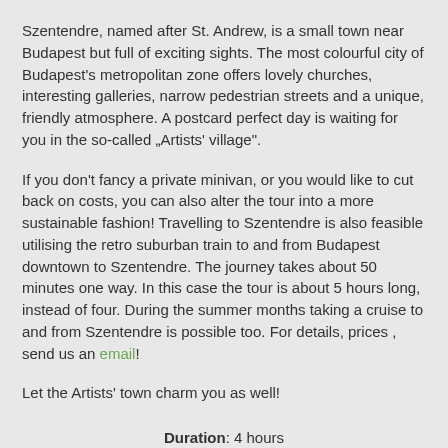Szentendre, named after St. Andrew, is a small town near Budapest but full of exciting sights. The most colourful city of Budapest's metropolitan zone offers lovely churches, interesting galleries, narrow pedestrian streets and a unique, friendly atmosphere. A postcard perfect day is waiting for you in the so-called „Artists' village".
If you don't fancy a private minivan, or you would like to cut back on costs, you can also alter the tour into a more sustainable fashion! Travelling to Szentendre is also feasible utilising the retro suburban train to and from Budapest downtown to Szentendre. The journey takes about 50 minutes one way. In this case the tour is about 5 hours long, instead of four. During the summer months taking a cruise to and from Szentendre is possible too. For details, prices , send us an email!
Let the Artists' town charm you as well!
Duration: 4 hours
Type: Minivan tour